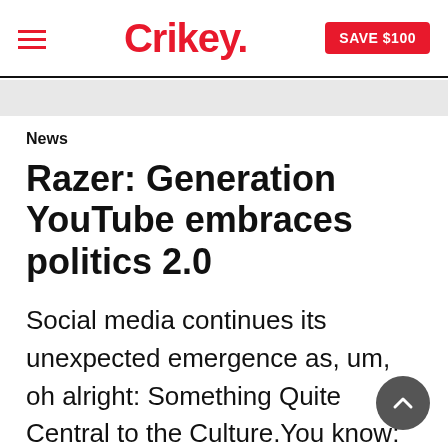Crikey. SAVE $100
News
Razer: Generation YouTube embraces politics 2.0
Social media continues its unexpected emergence as, um, oh alright: Something Quite Central to the Culture.You know: people are actually arguing about politics. And they're not all frankly stupid, writes Helen Razer